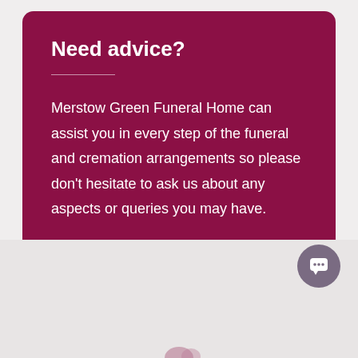Need advice?
Merstow Green Funeral Home can assist you in every step of the funeral and cremation arrangements so please don't hesitate to ask us about any aspects or queries you may have.
[Figure (illustration): Chat/message bubble icon button, circular purple background, bottom right corner of page]
[Figure (logo): Partial logo visible at very bottom center of page]